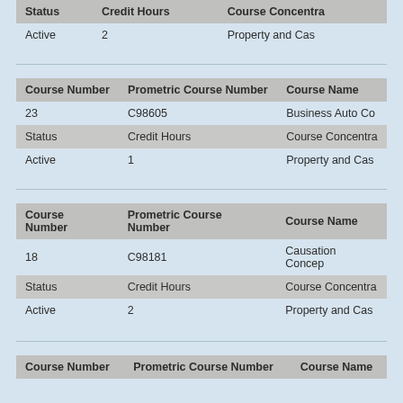| Status | Credit Hours | Course Concentration |
| --- | --- | --- |
| Active | 2 | Property and Cas... |
| Course Number | Prometric Course Number | Course Name |
| --- | --- | --- |
| 23 | C98605 | Business Auto Co... |
| Status | Credit Hours | Course Concentration |
| Active | 1 | Property and Cas... |
| Course Number | Prometric Course Number | Course Name |
| --- | --- | --- |
| 18 | C98181 | Causation Concep... |
| Status | Credit Hours | Course Concentration |
| Active | 2 | Property and Cas... |
| Course Number | Prometric Course Number | Course Name |
| --- | --- | --- |